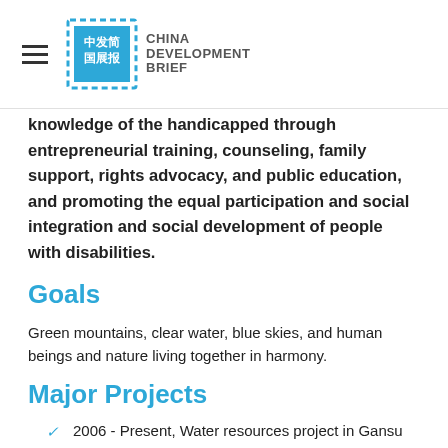China Development Brief
knowledge of the handicapped through entrepreneurial training, counseling, family support, rights advocacy, and public education, and promoting the equal participation and social integration and social development of people with disabilities.
Goals
Green mountains, clear water, blue skies, and human beings and nature living together in harmony.
Major Projects
2006 - Present, Water resources project in Gansu
2008 - Present, Eco-agriculture Demonstration Project
2008 - December 2011, Post-disaster